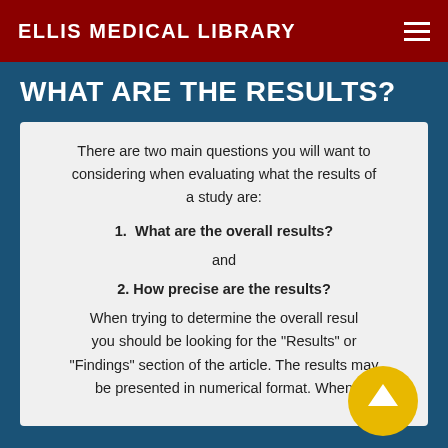ELLIS MEDICAL LIBRARY
WHAT ARE THE RESULTS?
There are two main questions you will want to considering when evaluating what the results of a study are:
1.  What are the overall results?
and
2. How precise are the results?
When trying to determine the overall result, you should be looking for the "Results" or "Findings" section of the article. The results may be presented in numerical format. When